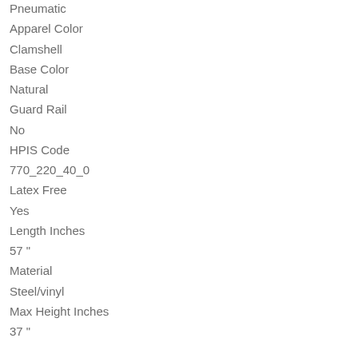Pneumatic
Apparel Color
Clamshell
Base Color
Natural
Guard Rail
No
HPIS Code
770_220_40_0
Latex Free
Yes
Length Inches
57 "
Material
Steel/vinyl
Max Height Inches
37 "